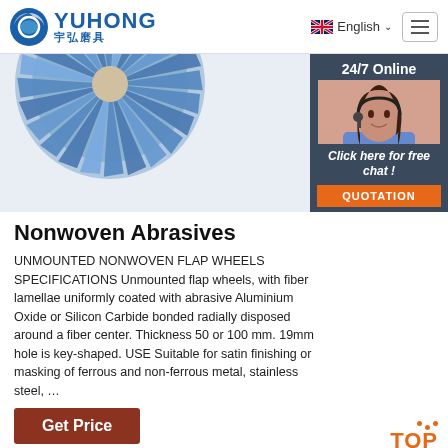YUHONG 宇弘磨具 | English | Menu
[Figure (photo): Blue nonwoven abrasive flap wheel close-up, with 24/7 Online customer service widget and chat/quotation overlay on the right side]
Nonwoven Abrasives
UNMOUNTED NONWOVEN FLAP WHEELS SPECIFICATIONS Unmounted flap wheels, with fiber lamellae uniformly coated with abrasive Aluminium Oxide or Silicon Carbide bonded radially disposed around a fiber center. Thickness 50 or 100 mm. 19mm hole is key-shaped. USE Suitable for satin finishing or masking of ferrous and non-ferrous metal, stainless steel, …
Get Price